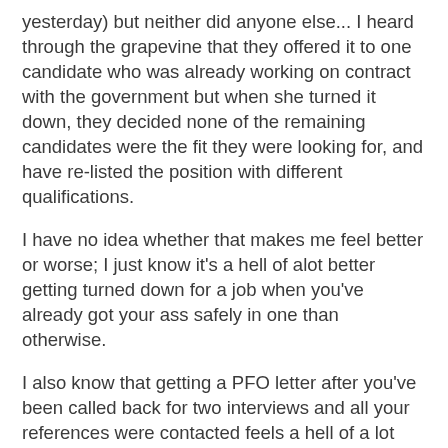yesterday) but neither did anyone else... I heard through the grapevine that they offered it to one candidate who was already working on contract with the government but when she turned it down, they decided none of the remaining candidates were the fit they were looking for, and have re-listed the position with different qualifications.
I have no idea whether that makes me feel better or worse; I just know it's a hell of alot better getting turned down for a job when you've already got your ass safely in one than otherwise.
I also know that getting a PFO letter after you've been called back for two interviews and all your references were contacted feels a hell of a lot better than getting one which makes it obvious the peon who opens the mail didn't even pass your resume along to the appropriate person.
So, we chalk it up to experience and the reinforcement of the belief that I'm "government material" and am, as Husband keeps optimistically saying "in the system" (his own civil service hiring process followed this series of events almost